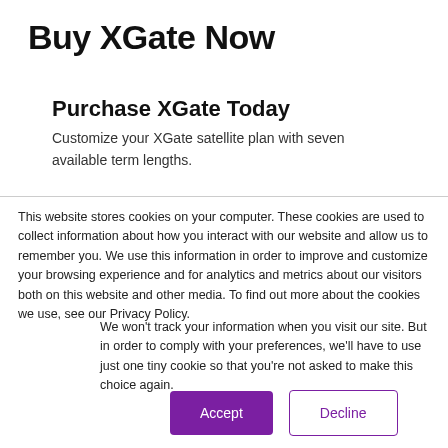Buy XGate Now
Purchase XGate Today
Customize your XGate satellite plan with seven available term lengths.
This website stores cookies on your computer. These cookies are used to collect information about how you interact with our website and allow us to remember you. We use this information in order to improve and customize your browsing experience and for analytics and metrics about our visitors both on this website and other media. To find out more about the cookies we use, see our Privacy Policy.
We won't track your information when you visit our site. But in order to comply with your preferences, we'll have to use just one tiny cookie so that you're not asked to make this choice again.